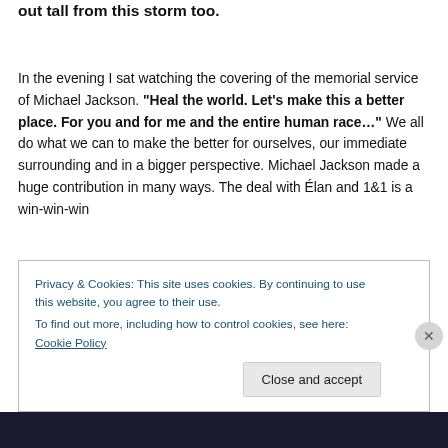out tall from this storm too.
In the evening I sat watching the covering of the memorial service of Michael Jackson. "Heal the world. Let’s make this a better place. For you and for me and the entire human race…" We all do what we can to make the better for ourselves, our immediate surrounding and in a bigger perspective. Michael Jackson made a huge contribution in many ways. The deal with Élan and 1&1 is a win-win-win
Privacy & Cookies: This site uses cookies. By continuing to use this website, you agree to their use.
To find out more, including how to control cookies, see here: Cookie Policy
Close and accept